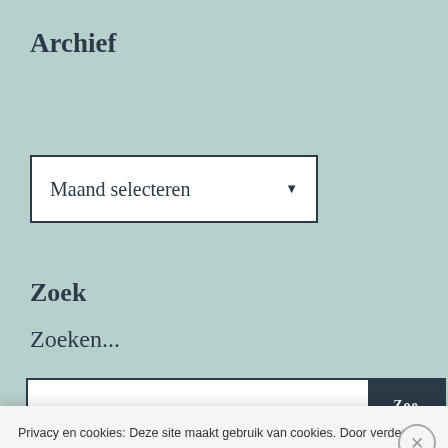Archief
[Figure (screenshot): Dropdown selector box with text 'Maand selecteren' and a downward arrow, white background with dark border]
Zoek
Zoeken...
[Figure (screenshot): Search bar with white input area and dark blue button on the right partially visible]
Privacy en cookies: Deze site maakt gebruik van cookies. Door verder te gaan op deze website, ga je akkoord met het gebruik hiervan. Voor meer informatie, onder andere over cookiebeheer, bekijk je: Cookiebeleid
Sluiten en bevestigen